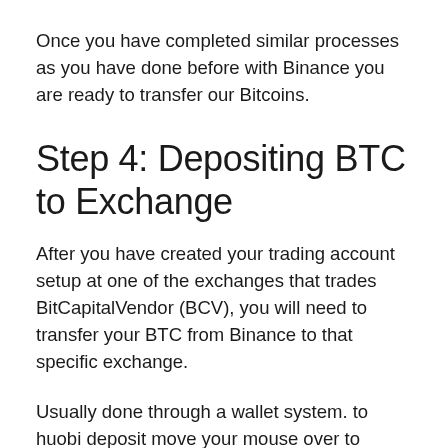Once you have completed similar processes as you have done before with Binance you are ready to transfer our Bitcoins.
Step 4: Depositing BTC to Exchange
After you have created your trading account setup at one of the exchanges that trades BitCapitalVendor (BCV), you will need to transfer your BTC from Binance to that specific exchange.
Usually done through a wallet system. to huobi deposit move your mouse over to “Balances” on the top right and click “Exchange Account”. Look for “BTC” from